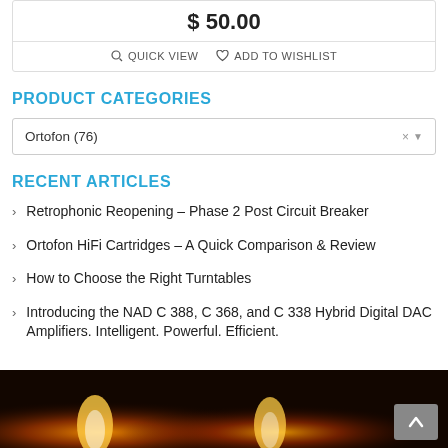$ 50.00
QUICK VIEW  ADD TO WISHLIST
PRODUCT CATEGORIES
Ortofon  (76)
RECENT ARTICLES
Retrophonic Reopening – Phase 2 Post Circuit Breaker
Ortofon HiFi Cartridges – A Quick Comparison & Review
How to Choose the Right Turntables
Introducing the NAD C 388, C 368, and C 338 Hybrid Digital DAC Amplifiers. Intelligent. Powerful. Efficient.
[Figure (photo): Dark background photo with warm glowing lights/flames]